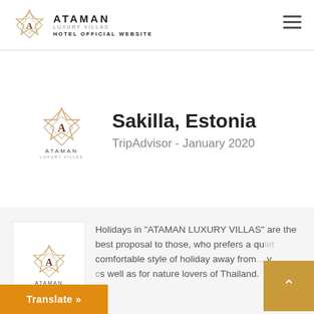ATAMAN LUXURY VILLAS — HOTEL OFFICIAL WEBSITE
Sakilla, Estonia
TripAdvisor - January 2020
Holidays in "ATAMAN LUXURY VILLAS" are the best proposal to those, who prefers a quiet comfortable style of holiday away from ... as well as for nature lovers of Thailand.
Translate »